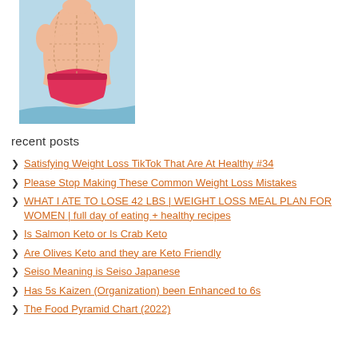[Figure (illustration): Illustration of a human torso from behind showing a body in pink/red underwear with dashed lines indicating body contouring or weight loss areas, on a light blue background.]
recent posts
Satisfying Weight Loss TikTok That Are At Healthy #34
Please Stop Making These Common Weight Loss Mistakes
WHAT I ATE TO LOSE 42 LBS | WEIGHT LOSS MEAL PLAN FOR WOMEN | full day of eating + healthy recipes
Is Salmon Keto or Is Crab Keto
Are Olives Keto and they are Keto Friendly
Seiso Meaning is Seiso Japanese
Has 5s Kaizen (Organization) been Enhanced to 6s
The Food Pyramid Chart (2022)